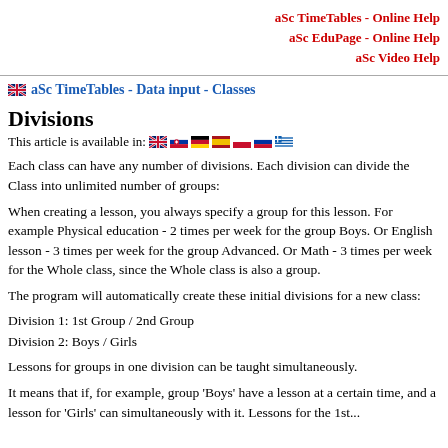aSc TimeTables - Online Help
aSc EduPage - Online Help
aSc Video Help
aSc TimeTables - Data input - Classes
Divisions
This article is available in:
Each class can have any number of divisions. Each division can divide the Class into unlimited number of groups:
When creating a lesson, you always specify a group for this lesson. For example Physical education - 2 times per week for the group Boys. Or English lesson - 3 times per week for the group Advanced. Or Math - 3 times per week for the Whole class, since the Whole class is also a group.
The program will automatically create these initial divisions for a new class:
Division 1: 1st Group / 2nd Group
Division 2: Boys / Girls
Lessons for groups in one division can be taught simultaneously.
It means that if, for example, group 'Boys' have a lesson at a certain time, and a lesson for 'Girls' can simultaneously with it. Lessons for the 1st...